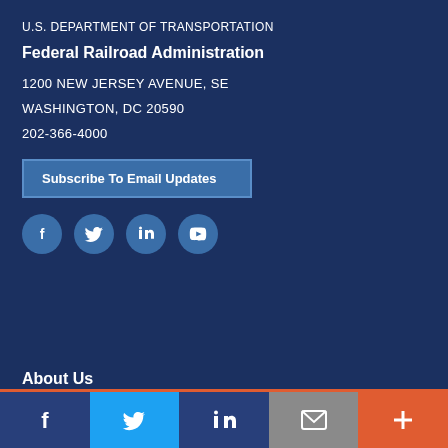U.S. DEPARTMENT OF TRANSPORTATION
Federal Railroad Administration
1200 NEW JERSEY AVENUE, SE
WASHINGTON, DC 20590
202-366-4000
Subscribe To Email Updates
[Figure (infographic): Social media icons: Facebook, Twitter, LinkedIn, YouTube in circular buttons]
About Us
[Figure (infographic): Bottom share/social bar with Facebook (dark blue), Twitter (light blue), LinkedIn (dark blue), Email (gray), and More (orange) segments]